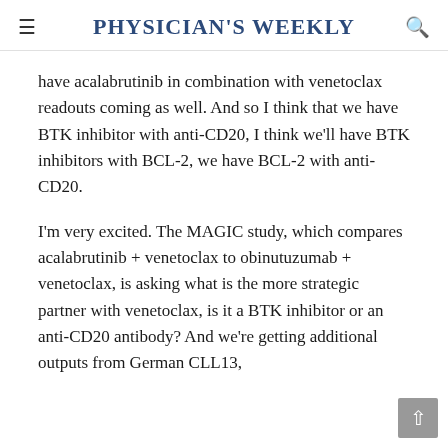Physician's Weekly
have acalabrutinib in combination with venetoclax readouts coming as well. And so I think that we have BTK inhibitor with anti-CD20, I think we'll have BTK inhibitors with BCL-2, we have BCL-2 with anti-CD20.
I'm very excited. The MAGIC study, which compares acalabrutinib + venetoclax to obinutuzumab + venetoclax, is asking what is the more strategic partner with venetoclax, is it a BTK inhibitor or an anti-CD20 antibody? And we're getting additional outputs from German CLL13,